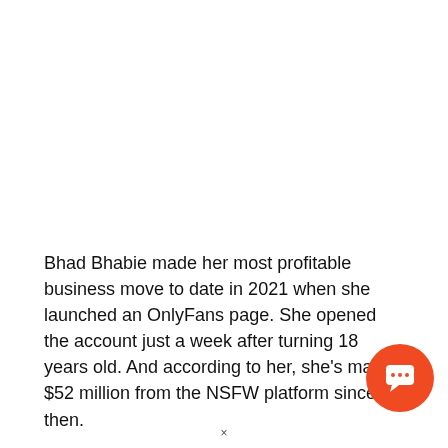Bhad Bhabie made her most profitable business move to date in 2021 when she launched an OnlyFans page. She opened the account just a week after turning 18 years old. And according to her, she's made $52 million from the NSFW platform since then.
According to Billboard, the actress earned $1 million on OnlyFans in just six hours, smashing the previous
[Figure (other): Orange circular chat/comment button icon in the bottom-right corner]